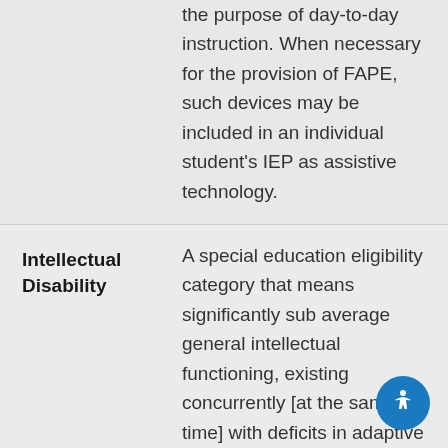the purpose of day-to-day instruction. When necessary for the provision of FAPE, such devices may be included in an individual student's IEP as assistive technology.
Intellectual Disability
A special education eligibility category that means significantly sub average general intellectual functioning, existing concurrently [at the same time] with deficits in adaptive